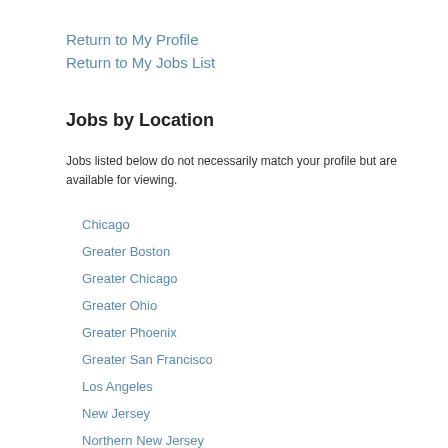Return to My Profile
Return to My Jobs List
Jobs by Location
Jobs listed below do not necessarily match your profile but are available for viewing.
Chicago
Greater Boston
Greater Chicago
Greater Ohio
Greater Phoenix
Greater San Francisco
Los Angeles
New Jersey
Northern New Jersey
Seattle
Southeastern Massachusetts